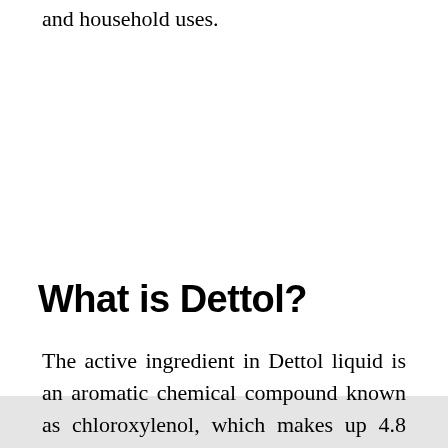and household uses.
What is Dettol?
The active ingredient in Dettol liquid is an aromatic chemical compound known as chloroxylenol, which makes up 4.8 percent of Dettol's total solution. The remainder is a mixture of pine oil, isopropanol,